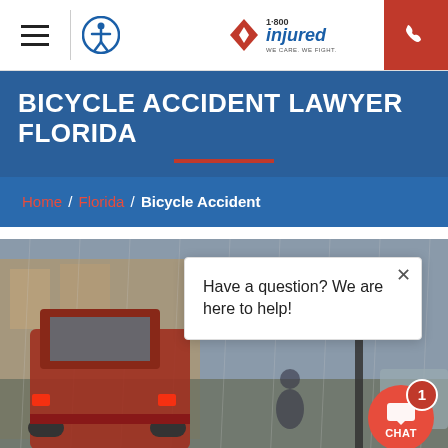1-800 Injured — WE CARE. WE FIGHT. WE WIN.
BICYCLE ACCIDENT LAWYER FLORIDA
Home / Florida / Bicycle Accident
[Figure (photo): Rainy street scene with a red pickup truck on the left and a cyclist in the background, with a chat popup overlay reading 'Have a question? We are here to help!' and a red CHAT button with badge '1' in the bottom right corner.]